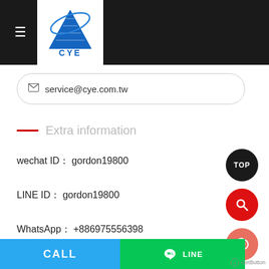[Figure (logo): CYE company logo — blue triangle/pyramid shape with orbital rings and CYE text below, on white background, within dark header bar]
service@cye.com.tw
Extra information
wechat ID：gordon19800
LINE ID：gordon19800
WhatsApp：+886975556398
Messenger：m.me/112356783777177